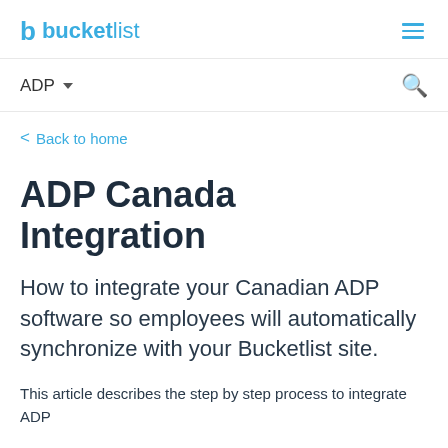bucketlist
ADP
Back to home
ADP Canada Integration
How to integrate your Canadian ADP software so employees will automatically synchronize with your Bucketlist site.
This article describes the step by step process to integrate ADP